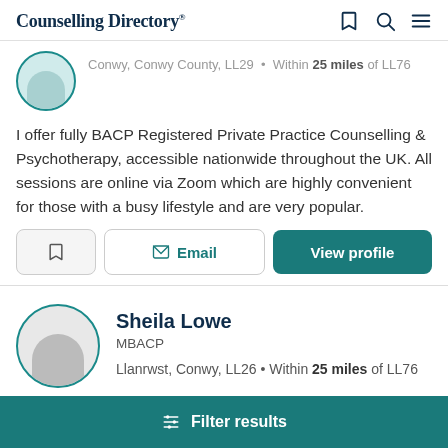Counselling Directory
Conwy, Conwy County, LL29 • Within 25 miles of LL76
I offer fully BACP Registered Private Practice Counselling & Psychotherapy, accessible nationwide throughout the UK. All sessions are online via Zoom which are highly convenient for those with a busy lifestyle and are very popular.
Email | View profile
Sheila Lowe
MBACP
Llanrwst, Conwy, LL26 • Within 25 miles of LL76
Filter results